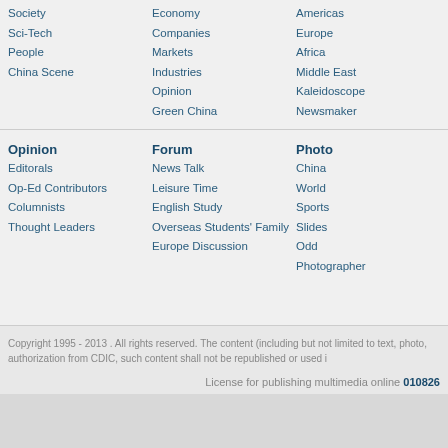Society
Sci-Tech
People
China Scene
Economy
Companies
Markets
Industries
Opinion
Green China
Americas
Europe
Africa
Middle East
Kaleidoscope
Newsmaker
Opinion
Editorals
Op-Ed Contributors
Columnists
Thought Leaders
Forum
News Talk
Leisure Time
English Study
Overseas Students' Family
Europe Discussion
Photo
China
World
Sports
Slides
Odd
Photographer
Copyright 1995 - 2013 . All rights reserved. The content (including but not limited to text, photo, authorization from CDIC, such content shall not be republished or used i
License for publishing multimedia online 010826